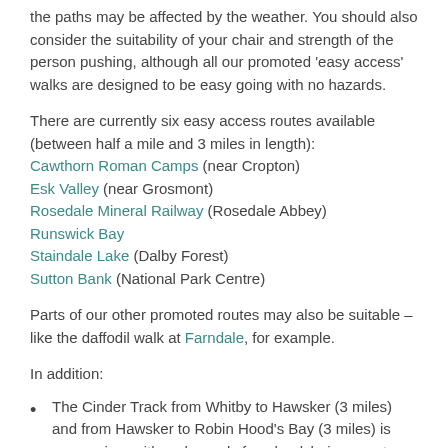the paths may be affected by the weather. You should also consider the suitability of your chair and strength of the person pushing, although all our promoted 'easy access' walks are designed to be easy going with no hazards.
There are currently six easy access routes available (between half a mile and 3 miles in length):
Cawthorn Roman Camps (near Cropton)
Esk Valley (near Grosmont)
Rosedale Mineral Railway (Rosedale Abbey)
Runswick Bay
Staindale Lake (Dalby Forest)
Sutton Bank (National Park Centre)
Parts of our other promoted routes may also be suitable – like the daffodil walk at Farndale, for example.
In addition:
The Cinder Track from Whitby to Hawsker (3 miles) and from Hawsker to Robin Hood's Bay (3 miles) is easy going, with no hazards for wheelchairs, scooters or trampers